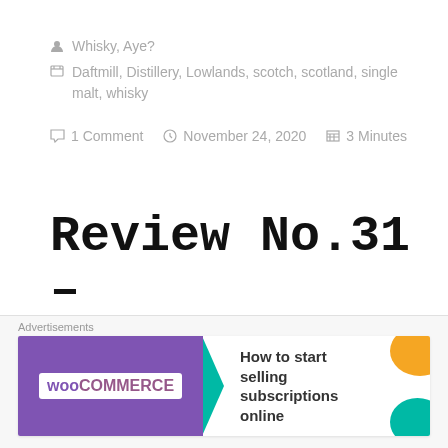Whisky, Aye?
Daftmill, Distillery, Lowlands, scotch, scotland, single malt, whisky
1 Comment   November 24, 2020   3 Minutes
Review No.31 – Ardnamurchan AD 09.20:01
[Figure (photo): Partial image strip visible at bottom of article area]
Advertisements
[Figure (infographic): WooCommerce advertisement banner: How to start selling subscriptions online]